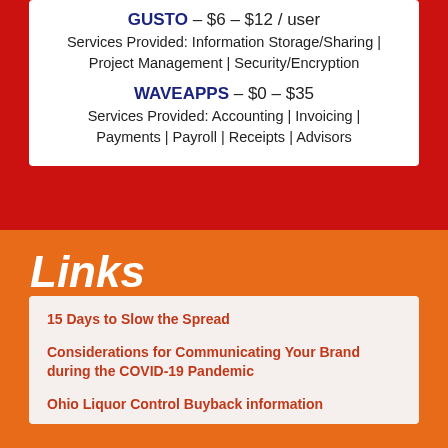GUSTO – $6 – $12 / user
Services Provided: Information Storage/Sharing | Project Management | Security/Encryption
WAVEAPPS – $0 – $35
Services Provided: Accounting | Invoicing | Payments | Payroll | Receipts | Advisors
Links
15 Days to Slow the Spread
Considerations for Communicating Your Brand during the COVID-19 Pandemic
Ohio Liquor Control Buyback information